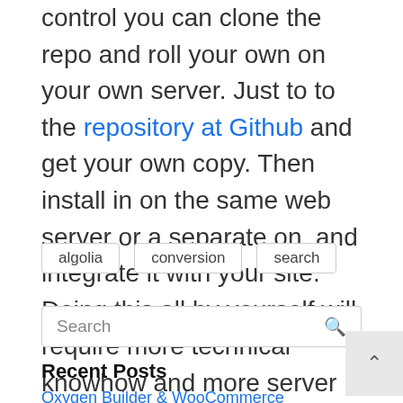if you want to run it all for free and under your control you can clone the repo and roll your own on your own server. Just to to the repository at Github and get your own copy. Then install in on the same web server or a separate on, and integrate it with your site. Doing this all by yourself will require more technical knowhow and more server power of course, but you do keep all the data under your control
algolia
conversion
search
Search
Recent Posts
Oxygen Builder & WooCommerce